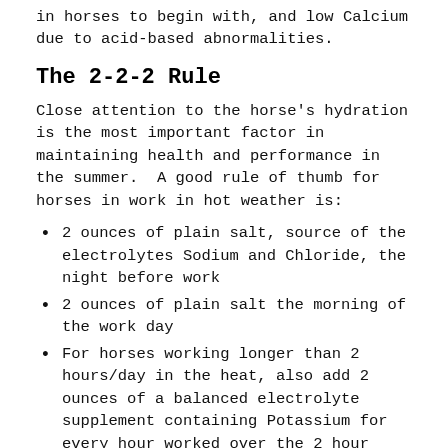in horses to begin with, and low Calcium due to acid-based abnormalities.
The 2-2-2 Rule
Close attention to the horse's hydration is the most important factor in maintaining health and performance in the summer.  A good rule of thumb for horses in work in hot weather is:
2 ounces of plain salt, source of the electrolytes Sodium and Chloride, the night before work
2 ounces of plain salt the morning of the work day
For horses working longer than 2 hours/day in the heat, also add 2 ounces of a balanced electrolyte supplement containing Potassium for every hour worked over the 2 hour mark.
Plain salt provides the most important two electrolytes - Sodium and Chloride.  Potassium lost in sweat is met